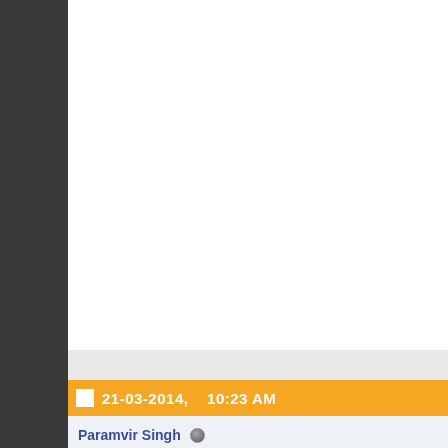21-03-2014, 10:23 AM
Paramvir Singh
Member
More pics.
Attached Images
[Figure (photo): Attached image preview showing cracked surface or windshield, blue-gray tones]